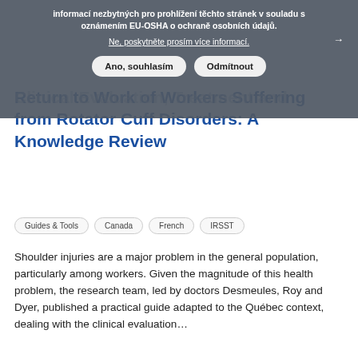informací nezbytných pro prohlížení těchto stránek v souladu s oznámením EU-OSHA o ochraně osobních údajů.
Ne, poskytněte prosím více informací.
Ano, souhlasím | Odmítnout
Clinical Evaluation, Treatment and Return to Work of Workers Suffering from Rotator Cuff Disorders: A Knowledge Review
Guides & Tools
Canada
French
IRSST
Shoulder injuries are a major problem in the general population, particularly among workers. Given the magnitude of this health problem, the research team, led by doctors Desmeules, Roy and Dyer, published a practical guide adapted to the Québec context, dealing with the clinical evaluation…